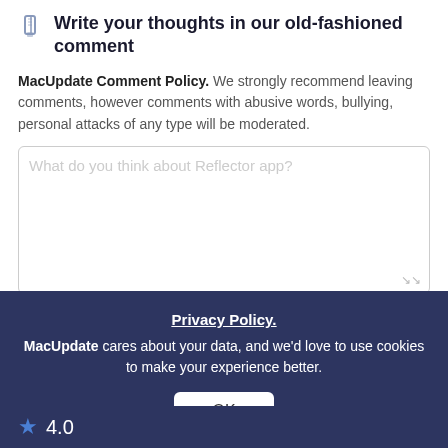Write your thoughts in our old-fashioned comment
MacUpdate Comment Policy. We strongly recommend leaving comments, however comments with abusive words, bullying, personal attacks of any type will be moderated.
[Figure (screenshot): Text area input box with placeholder text: What do you think about Reflector app?]
Email me when someone replies to this comment
[Figure (screenshot): Post comment button outlined in blue]
Privacy Policy. MacUpdate cares about your data, and we'd love to use cookies to make your experience better.
OK